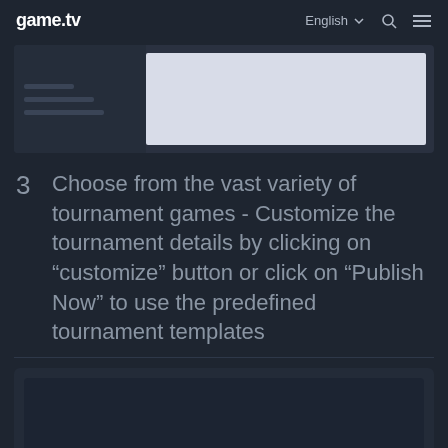game.tv — English (nav with search and menu icons)
[Figure (screenshot): Screenshot of game.tv interface showing a dark panel on the left with menu lines and a light/white content area on the right]
3  Choose from the vast variety of tournament games - Customize the tournament details by clicking on “customize” button or click on “Publish Now” to use the predefined tournament templates
[Figure (screenshot): Dark screenshot area showing tournament selection interface, partially visible at bottom of page]